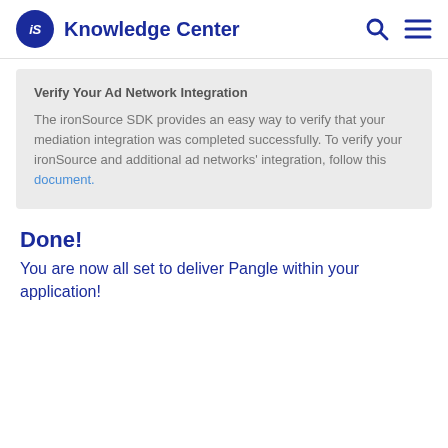iS Knowledge Center
Verify Your Ad Network Integration
The ironSource SDK provides an easy way to verify that your mediation integration was completed successfully. To verify your ironSource and additional ad networks' integration, follow this document.
Done!
You are now all set to deliver Pangle within your application!